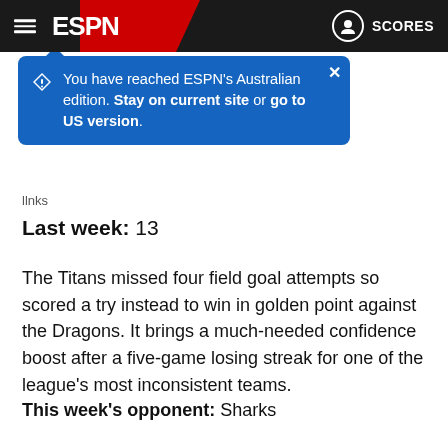ESPN — SCORES
You have reached ESPN's Australian edition. Stay on current site or go to US version.
Last week: 13
The Titans missed four field goal attempts so scored a try instead to win in golden point against the Dragons. It brings a much-needed confidence boost after a five-game losing streak for one of the league's most inconsistent teams.
This week's opponent: Sharks
12. Dragons
Last week: 10